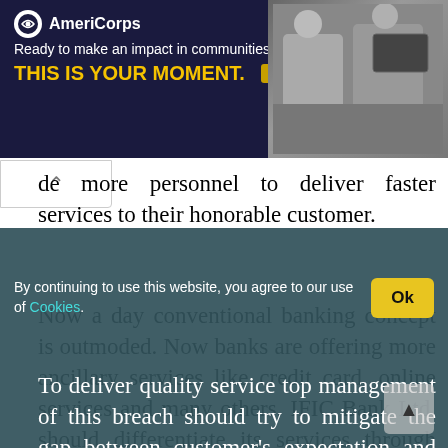[Figure (screenshot): AmeriCorps advertisement banner: dark navy background with AmeriCorps logo, tagline 'Ready to make an impact in communities across the country?', headline 'THIS IS YOUR MOMENT.', learn more button, and a photo of people on the right side.]
de more personnel to deliver faster services to their honorable customer.
Now a day conventional banking concept is outmoded. Now banks are offering more ancillary services like credit card, online services and many others. IFIC Bank Ltd. should differentiate its services through adopting the modern facilities and implementing in the branch level.
By continuing to use this website, you agree to our use of Cookies
To deliver quality service top management of this breach should try to mitigate the gap between customer's expectation and employee's perception and customer's convenience should give priority